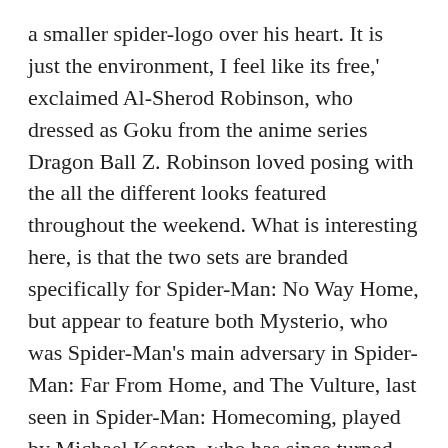a smaller spider-logo over his heart. It is just the environment, I feel like its free,' exclaimed Al-Sherod Robinson, who dressed as Goku from the anime series Dragon Ball Z. Robinson loved posing with the all the different looks featured throughout the weekend. What is interesting here, is that the two sets are branded specifically for Spider-Man: No Way Home, but appear to feature both Mysterio, who was Spider-Man's main adversary in Spider-Man: Far From Home, and The Vulture, last seen in Spider-Man: Homecoming, played by Michael Keaton, who has since turned up as the character in Sony's expanding Marvel Universe.
Nolan North, who voices Nathan Drake in the Uncharted games, spiderman cosplay will narrate the audio book version of Sony's new film. Your mileage may vary, but after carefully taking each version of Peter Parker's gear into